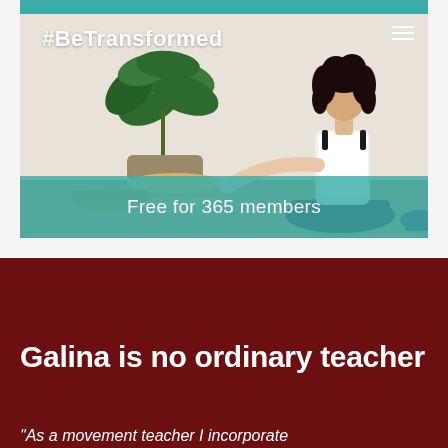[Figure (photo): Woman stretching/doing yoga in a studio room with a large green plant and wicker poufs, with a teal top bar and teal bottom overlay saying 'Free for 365 members']
#BeTransformed
Free for 365 members
Galina is no ordinary teacher
"As a movement teacher I incorporate